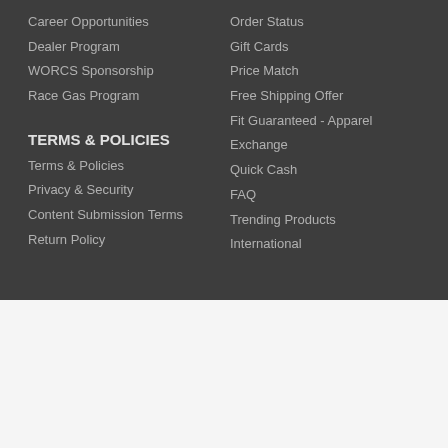Career Opportunities
Dealer Program
WORCS Sponsorship
Race Gas Program
TERMS & POLICIES
Terms & Policies
Privacy & Security
Content Submission Terms
Return Policy
Order Status
Gift Cards
Price Match
Free Shipping Offer
Fit Guaranteed - Apparel
Exchange
Quick Cash
FAQ
Trending Products
International
[Figure (logo): BBB Accredited Business badge with BBB Rating: A+]
[Figure (logo): Comodo Secure badge]
WE WERE CHOSEN #1
[Figure (logo): Racer X 2020 Readers Choice badge]